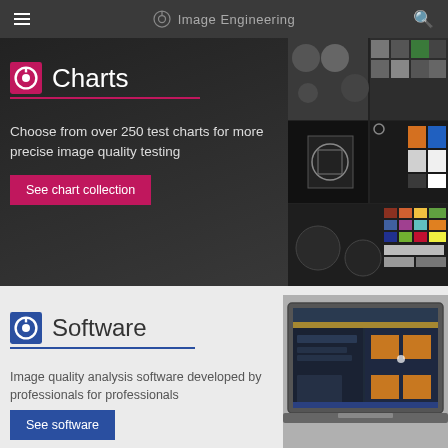Image Engineering
Charts
Choose from over 250 test charts for more precise image quality testing
See chart collection
[Figure (photo): Grid of test charts including grey scale charts, resolution charts, and color checker charts]
Software
Image quality analysis software developed by professionals for professionals
See software
[Figure (screenshot): Laptop screen showing image quality analysis software interface with dark background and orange patches]